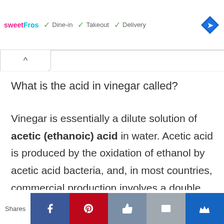[Figure (screenshot): Sweet Frog advertisement banner showing Dine-in, Takeout, Delivery options with checkmarks and a navigation diamond icon]
What is the acid in vinegar called?
Vinegar is essentially a dilute solution of acetic (ethanoic) acid in water. Acetic acid is produced by the oxidation of ethanol by acetic acid bacteria, and, in most countries, commercial production involves a double fermentation where the ethanol is produced
[Figure (screenshot): Social sharing bar with Facebook, Pinterest, Like, Email, and Crown buttons, and a Shares label]